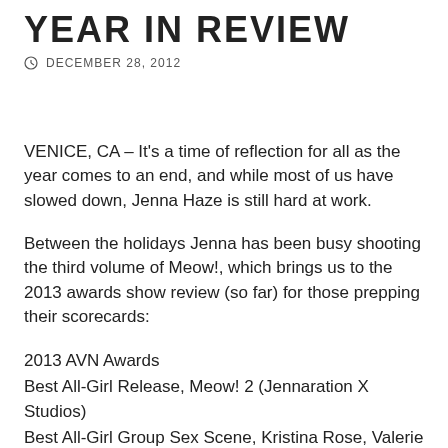YEAR IN REVIEW
DECEMBER 28, 2012
VENICE, CA – It's a time of reflection for all as the year comes to an end, and while most of us have slowed down, Jenna Haze is still hard at work.
Between the holidays Jenna has been busy shooting the third volume of Meow!, which brings us to the 2013 awards show review (so far) for those prepping their scorecards:
2013 AVN Awards
Best All-Girl Release, Meow! 2 (Jennaration X Studios)
Best All-Girl Group Sex Scene, Kristina Rose, Valerie Kay & Heather Starlet, Meow! 2
Best Director – Non-Feature, Meow! 2, Jenna Haze